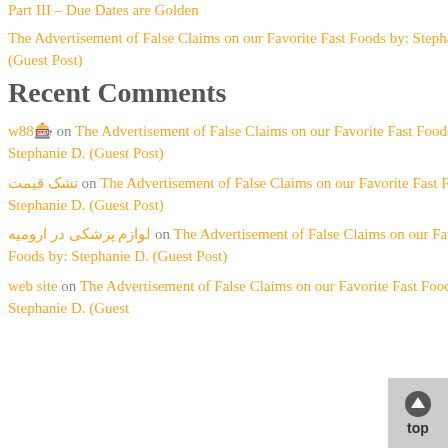Part III – Due Dates are Golden
The Advertisement of False Claims on our Favorite Fast Foods by: Stephanie D. (Guest Post)
Recent Comments
w88🎰 on The Advertisement of False Claims on our Favorite Fast Foods by: Stephanie D. (Guest Post)
تشک قیمت on The Advertisement of False Claims on our Favorite Fast Foods by: Stephanie D. (Guest Post)
لوازم پزشکی در ارومیه on The Advertisement of False Claims on our Favorite Fast Foods by: Stephanie D. (Guest Post)
web site on The Advertisement of False Claims on our Favorite Fast Foods by: Stephanie D. (Guest Post)